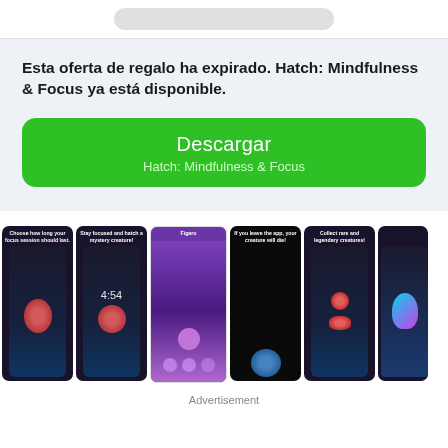[Figure (screenshot): Top navigation bar with rounded pill-shaped search/URL bar]
Esta oferta de regalo ha expirado. Hatch: Mindfulness & Focus ya está disponible.
[Figure (screenshot): Green download button with text 'Descargar' and 'Hatch: Mindfulness & Focus']
[Figure (screenshot): Row of app screenshots showing Hatch Mindfulness & Focus mobile app screens with creatures and focus timers]
Advertisement